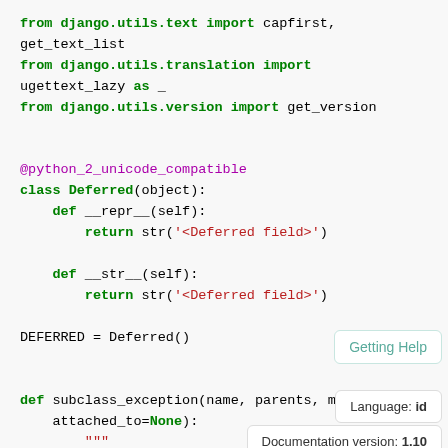from django.utils.text import capfirst,
get_text_list
from django.utils.translation import
ugettext_lazy as _
from django.utils.version import get_version


@python_2_unicode_compatible
class Deferred(object):
    def __repr__(self):
        return str('<Deferred field>')

    def __str__(self):
        return str('<Deferred field>')

DEFERRED = Deferred()


def subclass_exception(name, parents, module,
    attached_to=None):
        """